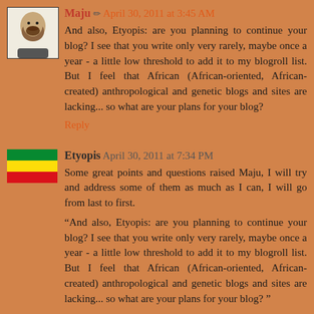Maju ✏ April 30, 2011 at 3:45 AM
And also, Etyopis: are you planning to continue your blog? I see that you write only very rarely, maybe once a year - a little low threshold to add it to my blogroll list. But I feel that African (African-oriented, African-created) anthropological and genetic blogs and sites are lacking... so what are your plans for your blog?
Reply
Etyopis April 30, 2011 at 7:34 PM
Some great points and questions raised Maju, I will try and address some of them as much as I can, I will go from last to first.
“And also, Etyopis: are you planning to continue your blog? I see that you write only very rarely, maybe once a year - a little low threshold to add it to my blogroll list. But I feel that African (African-oriented, African-created) anthropological and genetic blogs and sites are lacking... so what are your plans for your blog? ”